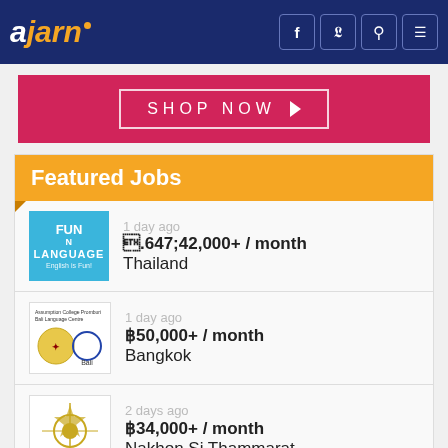ajarn
[Figure (other): Shop Now banner advertisement with crimson/red background and white bordered button]
Featured Jobs
1 day ago | ฿42,000+ / month | Thailand
1 day ago | ฿50,000+ / month | Bangkok
2 days ago | ฿34,000+ / month | Nakhon Si Thammarat
2 days ago